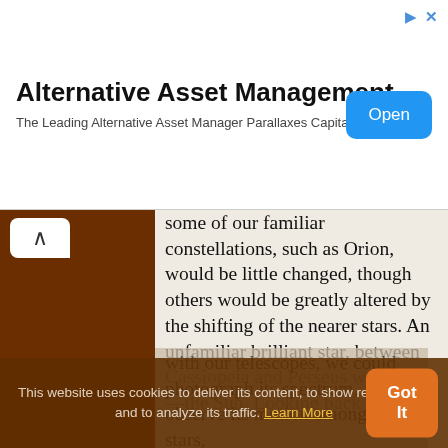[Figure (screenshot): Ad banner for Alternative Asset Management - Parallaxes Capital LLC with Open button]
some of our familiar constellations, such as Orion, would be little changed, though others would be greatly altered by the shifting of the nearer stars. An unfamiliar brilliant star, between Cassiopeia and Perseus would be—the Sun. Looking back at it with our telescopes, we could photograph its spectrum, observe its motion among the stars,
This website uses cookies to deliver its content, to show relevant ads and to analyze its traffic. Learn More